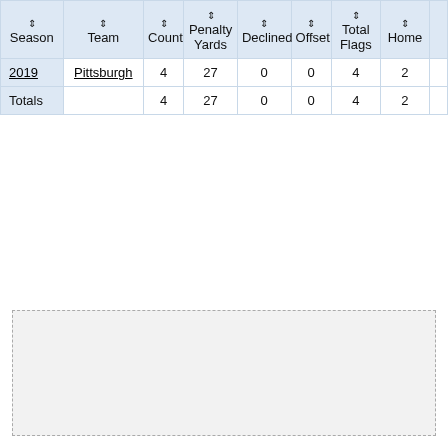| Season | Team | Count | Penalty Yards | Declined | Offset | Total Flags | Home |
| --- | --- | --- | --- | --- | --- | --- | --- |
| 2019 | Pittsburgh | 4 | 27 | 0 | 0 | 4 | 2 |
| Totals |  | 4 | 27 | 0 | 0 | 4 | 2 |
[Figure (other): Empty dashed-border box/placeholder region below the table]